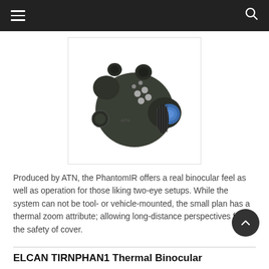☰ [menu] [search]
[Figure (photo): ATN PhantomIR thermal binocular device, dark olive/black colored, with blue lens on right side and control buttons visible, photographed against white background]
Produced by ATN, the PhantomIR offers a real binocular feel as well as operation for those liking two-eye setups. While the system can not be tool- or vehicle-mounted, the small plan has a thermal zoom attribute; allowing long-distance perspectives from the safety of cover.
ELCAN TIRNPHAN1 Thermal Binocular